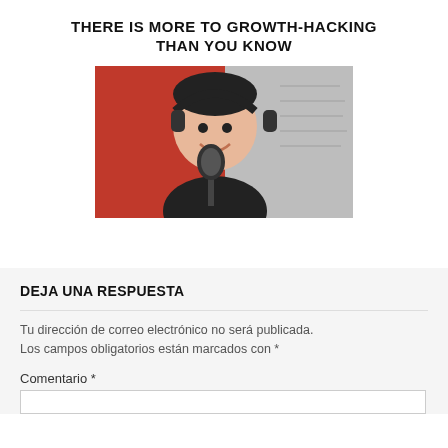THERE IS MORE TO GROWTH-HACKING THAN YOU KNOW
[Figure (photo): Person wearing headphones and smiling, speaking into a microphone in a podcast or recording studio setting, with a red background visible.]
DEJA UNA RESPUESTA
Tu dirección de correo electrónico no será publicada. Los campos obligatorios están marcados con *
Comentario *